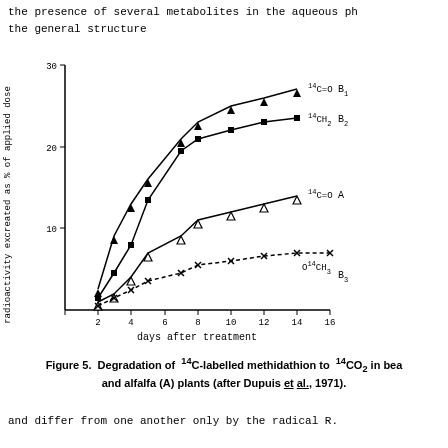the presence of several metabolites in the aqueous ph the general structure
[Figure (line-chart): Degradation of 14C-labelled methidathion]
Figure 5. Degradation of 14C-labelled methidathion to 14CO2 in bean and alfalfa (A) plants (after Dupuis et al., 1971).
and differ from one another only by the radical R.